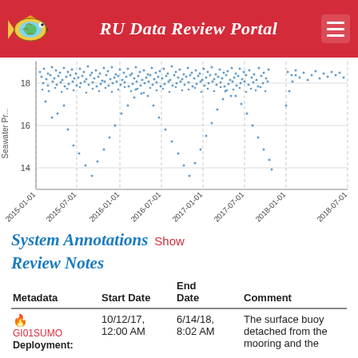RU Data Review Portal
[Figure (continuous-plot): Scatter/time-series plot of Seawater Pressure vs time from 2015-01-01 to 2018-07-01. Dense blue dot cloud mostly between y=16 and y=18, with scattered points dropping down to y=14. Vertical dashed gridlines at each 6-month interval. Y-axis shows values 14, 16, 18.]
System Annotations Show
Review Notes
| Metadata | Start Date | End Date | Comment |
| --- | --- | --- | --- |
| 🔥 GI01SUMO Deployment: | 10/12/17, 12:00 AM | 6/14/18, 8:02 AM | The surface buoy detached from the mooring and the |